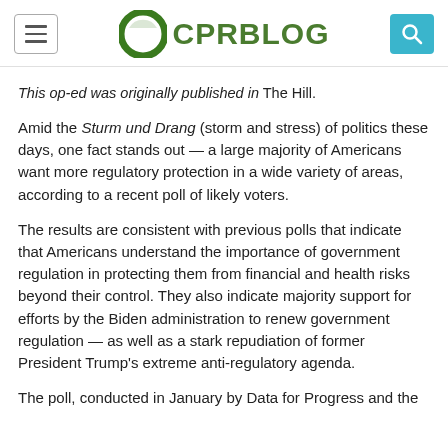CPR BLOG
This op-ed was originally published in The Hill.
Amid the Sturm und Drang (storm and stress) of politics these days, one fact stands out — a large majority of Americans want more regulatory protection in a wide variety of areas, according to a recent poll of likely voters.
The results are consistent with previous polls that indicate that Americans understand the importance of government regulation in protecting them from financial and health risks beyond their control. They also indicate majority support for efforts by the Biden administration to renew government regulation — as well as a stark repudiation of former President Trump's extreme anti-regulatory agenda.
The poll, conducted in January by Data for Progress and the